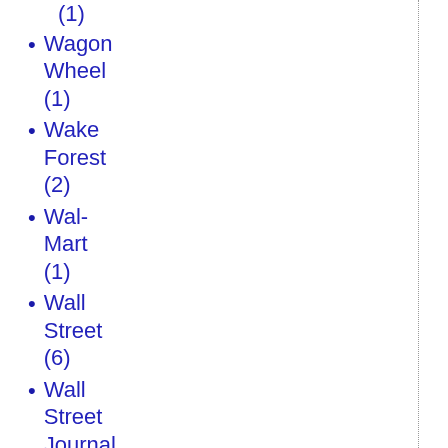(1)
Wagon Wheel (1)
Wake Forest (2)
Wal-Mart (1)
Wall Street (6)
Wall Street Journal (1)
Walmart (1)
Walter Russell Mead (1)
war (6)
War